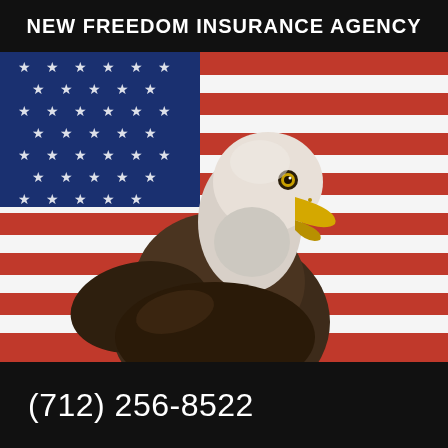NEW FREEDOM INSURANCE AGENCY
[Figure (photo): A bald eagle in the foreground with an American flag (stars and stripes) blurred in the background. The eagle faces right, showing its white head and dark brown body.]
(712) 256-8522